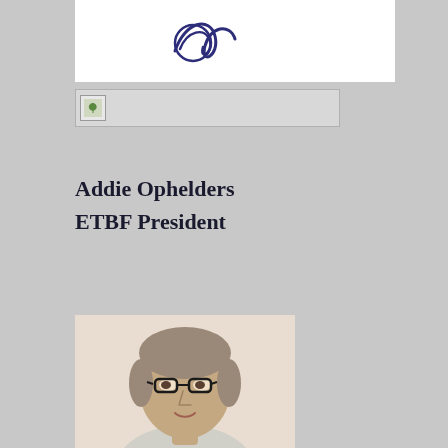[Figure (logo): ETBF logo with stylized swirl design in dark purple/blue on white background]
[Figure (photo): Small thumbnail image placeholder with leaf/nature icon]
Addie Ophelders
ETBF President
[Figure (photo): Portrait photo of Addie Ophelders, a middle-aged man with gray hair and glasses, smiling slightly, wearing a light-colored shirt]